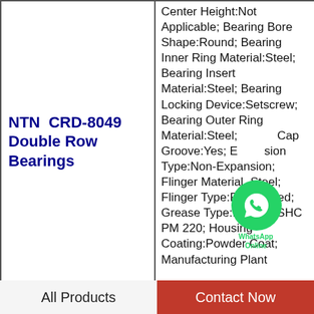NTN CRD-8049 Double Row Bearings
Center Height:Not Applicable; Bearing Bore Shape:Round; Bearing Inner Ring Material:Steel; Bearing Insert Material:Steel; Bearing Locking Device:Setscrew; Bearing Outer Ring Material:Steel; Cap Groove:Yes; Expansion Type:Non-Expansion; Flinger Material:Steel; Flinger Type:Rubberized; Grease Type:Mobilith SHC PM 220; Housing Coating:Powder Coat; Manufacturing Plant
All Products
Contact Now